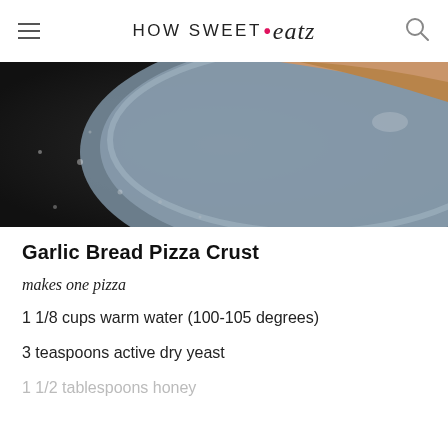HOW SWEET • eats
[Figure (photo): Close-up photo of a pizza crust on a blue/grey plate with black background, showing the edge of the crust with some topping]
Garlic Bread Pizza Crust
makes one pizza
1 1/8 cups warm water (100-105 degrees)
3 teaspoons active dry yeast
1 1/2 tablespoons honey